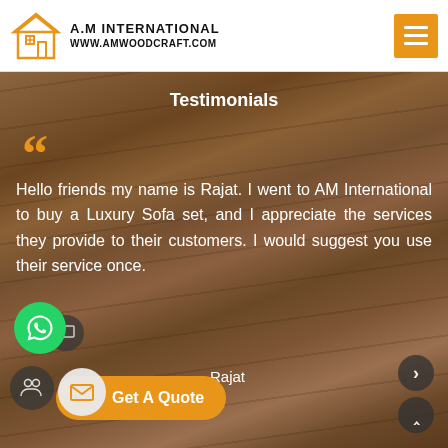A.M INTERNATIONAL www.amwoodcraft.com
Testimonials
Hello friends my name is Rajat. I went to AM International to buy a Luxury Sofa set, and I appreciate the services they provide to their customers. I would suggest you use their service once.
Rajat
Get A Quote